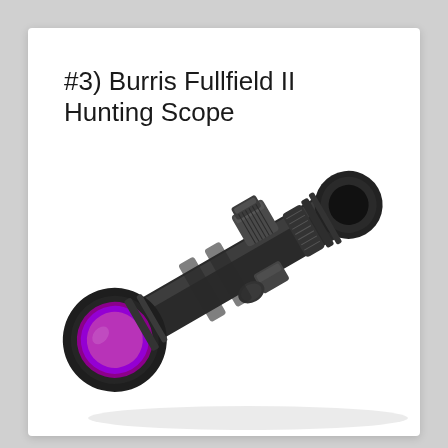#3) Burris Fullfield II Hunting Scope
[Figure (photo): A Burris Fullfield II rifle scope shown diagonally, with a large objective lens featuring a purple/magenta coating on the left and the eyepiece on the upper right. The scope is black with knurled adjustment turrets visible on top. The image is on a white background.]